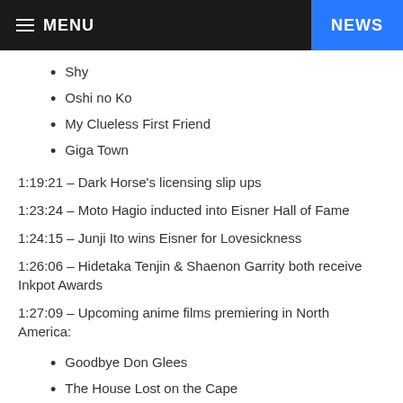≡ MENU   NEWS
Shy
Oshi no Ko
My Clueless First Friend
Giga Town
1:19:21 – Dark Horse's licensing slip ups
1:23:24 – Moto Hagio inducted into Eisner Hall of Fame
1:24:15 – Junji Ito wins Eisner for Lovesickness
1:26:06 – Hidetaka Tenjin & Shaenon Garrity both receive Inkpot Awards
1:27:09 – Upcoming anime films premiering in North America:
Goodbye Don Glees
The House Lost on the Cape
A Silent Voice